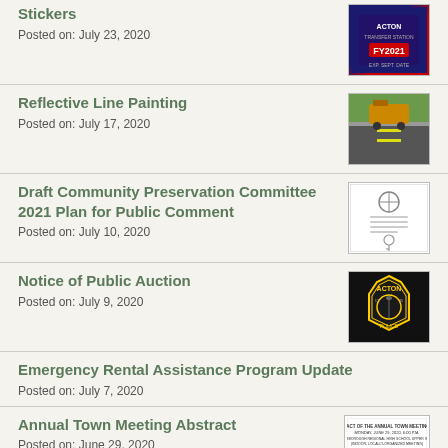Stickers
Posted on: July 23, 2020
Reflective Line Painting
Posted on: July 17, 2020
Draft Community Preservation Committee 2021 Plan for Public Comment
Posted on: July 10, 2020
Notice of Public Auction
Posted on: July 9, 2020
Emergency Rental Assistance Program Update
Posted on: July 7, 2020
Annual Town Meeting Abstract
Posted on: June 29, 2020